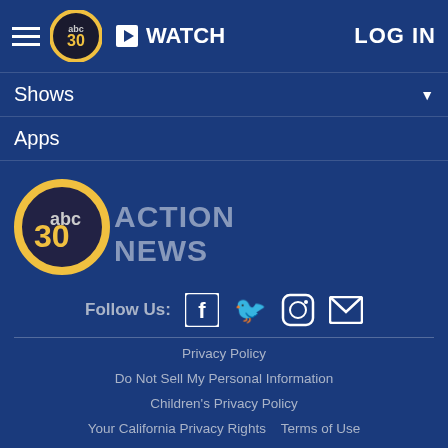abc30 ACTION NEWS | WATCH | LOG IN
Shows
Apps
[Figure (logo): abc30 Action News logo with globe, yellow ring, and ACTION NEWS text]
Follow Us:
Privacy Policy
Do Not Sell My Personal Information
Children's Privacy Policy
Your California Privacy Rights    Terms of Use
Interest-Based Ads    Public Inspection File
FCC Applications